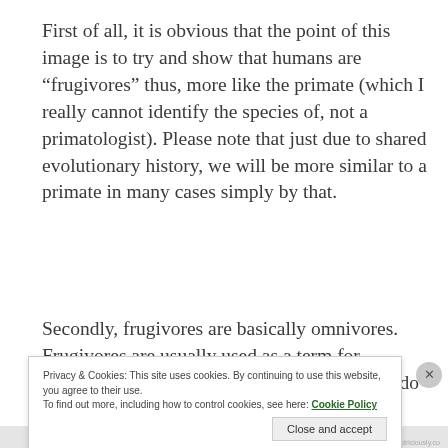First of all, it is obvious that the point of this image is to try and show that humans are “frugivores” thus, more like the primate (which I really cannot identify the species of, not a primatologist). Please note that just due to shared evolutionary history, we will be more similar to a primate in many cases simply by that.
Secondly, frugivores are basically omnivores. Frugivores are usually used as a term for omnivores that feed on fruit. Most frugivores do not eat
Privacy & Cookies: This site uses cookies. By continuing to use this website, you agree to their use.
To find out more, including how to control cookies, see here: Cookie Policy